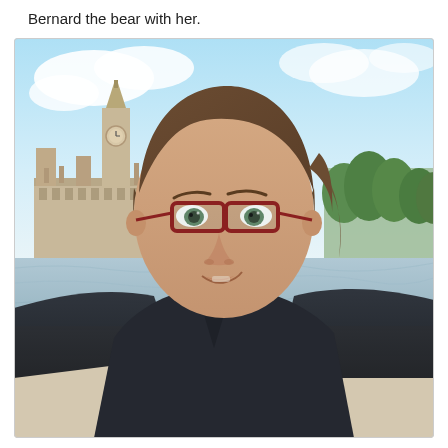Bernard the bear with her.
[Figure (photo): A woman with brown hair pulled back and red-framed glasses takes a selfie in front of the Houses of Parliament and Big Ben in London, with the River Thames visible in the background. She is wearing a dark jacket. The sky is mostly blue with some white clouds.]